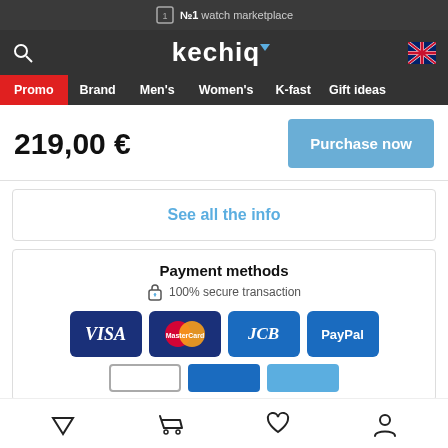№1 watch marketplace
[Figure (screenshot): Kechiq logo with navigation bar including Promo, Brand, Men's, Women's, K-fast, Gift ideas]
219,00 €
Purchase now
See all the info
Payment methods
100% secure transaction
[Figure (infographic): Payment method logos: VISA, Mastercard, JCB, PayPal and additional payment options partially visible]